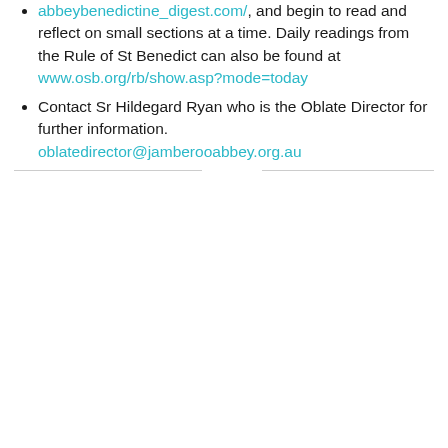abbeybenedictine_digest.com/, and begin to read and reflect on small sections at a time. Daily readings from the Rule of St Benedict can also be found at www.osb.org/rb/show.asp?mode=today
Contact Sr Hildegard Ryan who is the Oblate Director for further information. oblatedirector@jamberooabbey.org.au